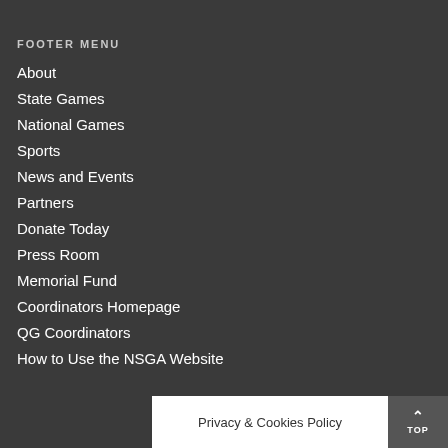FOOTER MENU
About
State Games
National Games
Sports
News and Events
Partners
Donate Today
Press Room
Memorial Fund
Coordinators Homepage
QG Coordinators
How to Use the NSGA Website
Privacy & Cookies Policy
TOP